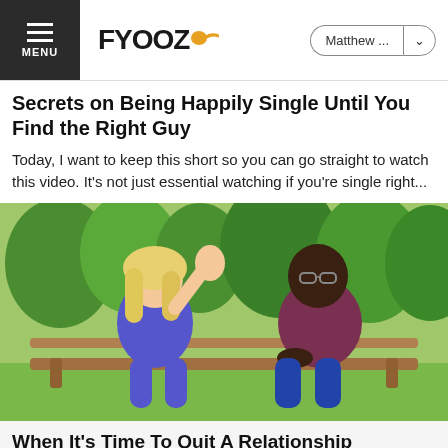FYOOZ | Matthew ...
Secrets on Being Happily Single Until You Find the Right Guy
Today, I want to keep this short so you can go straight to watch this video. It's not just essential watching if you're single right...
[Figure (photo): A blonde woman in a blue dress and a Black man in a maroon t-shirt sitting on a park bench, with trees in the background. The woman appears to be gesturing with her hand raised.]
When It's Time To Quit A Relationship
Not a day goes by that someone doesn't ask me this question